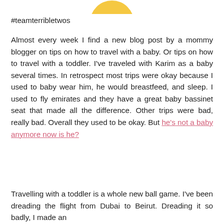[Figure (illustration): Partial yellow circular logo/illustration cropped at the top of the page]
#teamterribletwos
Almost every week I find a new blog post by a mommy blogger on tips on how to travel with a baby. Or tips on how to travel with a toddler. I've traveled with Karim as a baby several times. In retrospect most trips were okay because I used to baby wear him, he would breastfeed, and sleep. I used to fly emirates and they have a great baby bassinet seat that made all the difference. Other trips were bad, really bad. Overall they used to be okay. But he's not a baby anymore now is he?
Travelling with a toddler is a whole new ball game. I've been dreading the flight from Dubai to Beirut. Dreading it so badly, I made an